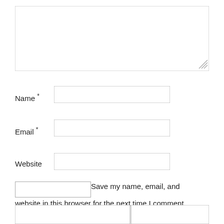[Figure (other): Large textarea input box for comment entry]
Name *
[Figure (other): Text input box for Name field]
Email *
[Figure (other): Text input box for Email field]
Website
[Figure (other): Text input box for Website field]
Save my name, email, and website in this browser for the next time I comment.
[Figure (other): Two bottom input boxes partially visible at bottom of page]